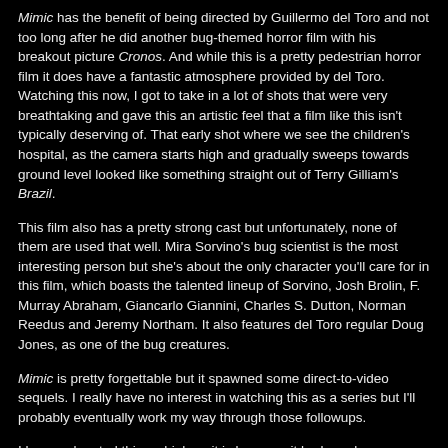Mimic has the benefit of being directed by Guillermo del Toro and not too long after he did another bug-themed horror film with his breakout picture Cronos. And while this is a pretty pedestrian horror film it does have a fantastic atmosphere provided by del Toro. Watching this now, I got to take in a lot of shots that were very breathtaking and gave this an artistic feel that a film like this isn't typically deserving of. That early shot where we see the children's hospital, as the camera starts high and gradually sweeps towards ground level looked like something straight out of Terry Gilliam's Brazil.
This film also has a pretty strong cast but unfortunately, none of them are used that well. Mira Sorvino's bug scientist is the most interesting person but she's about the only character you'll care for in this film, which boasts the talented lineup of Sorvino, Josh Brolin, F. Murray Abraham, Giancarlo Giannini, Charles S. Dutton, Norman Reedus and Jeremy Northam. It also features del Toro regular Doug Jones, as one of the bug creatures.
Mimic is pretty forgettable but it spawned some direct-to-video sequels. I really have no interest in watching this as a series but I'll probably eventually work my way through those followups.
I have only rated this as high as it is because it had good atmosphere and style to it and it wasn't awful. It could have had a better script, better characters and